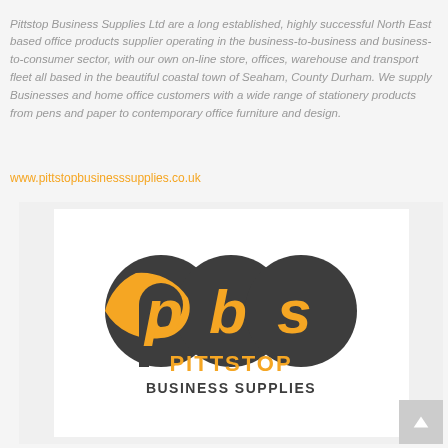Pittstop Business Supplies Ltd are a long established, highly successful North East based office products supplier operating in the business-to-business and business-to-consumer sector, with our own on-line store, offices, warehouse and transport fleet all based in the beautiful coastal town of Seaham, County Durham. We supply Businesses and home office customers with a wide range of stationery products from pens and paper to contemporary office furniture and design.
www.pittstopbusinesssupplies.co.uk
[Figure (logo): Pittstop Business Supplies logo featuring a dark grey circular icon with orange 'p', 'b', 's' letters, and the text 'PITTSTOP BUSINESS SUPPLIES' in orange and dark grey below]